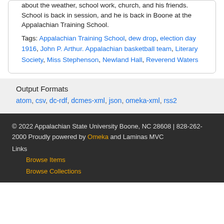about the weather, school work, church, and his friends. School is back in session, and he is back in Boone at the Appalachian Training School.
Tags: Appalachian Training School, dew drop, election day 1916, John P. Arthur. Appalachian basketball team, Literary Society, Miss Stephenson, Newland Hall, Reverend Waters
Output Formats
atom, csv, dc-rdf, dcmes-xml, json, omeka-xml, rss2
© 2022 Appalachian State University Boone, NC 28608 | 828-262-2000 Proudly powered by Omeka and Laminas MVC
Links
Browse Items
Browse Collections